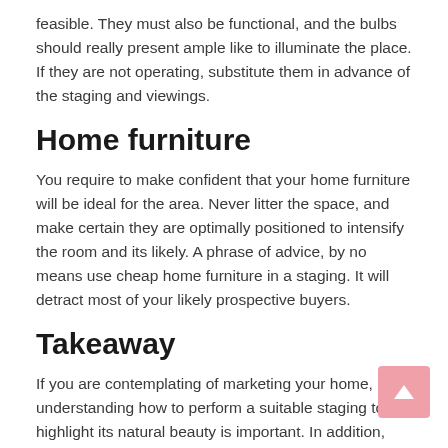feasible. They must also be functional, and the bulbs should really present ample like to illuminate the place. If they are not operating, substitute them in advance of the staging and viewings.
Home furniture
You require to make confident that your home furniture will be ideal for the area. Never litter the space, and make certain they are optimally positioned to intensify the room and its likely. A phrase of advice, by no means use cheap home furniture in a staging. It will detract most of your likely prospective buyers.
Takeaway
If you are contemplating of marketing your home, understanding how to perform a suitable staging to highlight its natural beauty is important. In addition, you'll have to complete numerous updates and updates to make an superb initial effect on your customers.